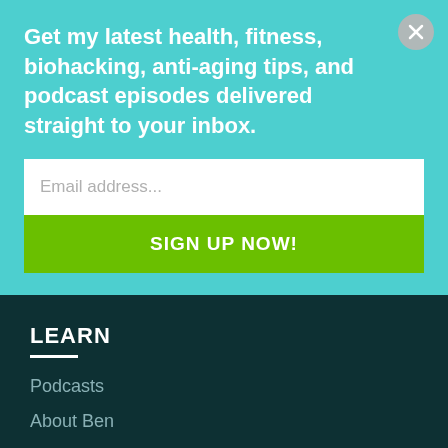Get my latest health, fitness, biohacking, anti-aging tips, and podcast episodes delivered straight to your inbox.
Email address...
SIGN UP NOW!
LEARN
Podcasts
About Ben
Coaching
Careers
Shop Kion Supplements
Subscribe